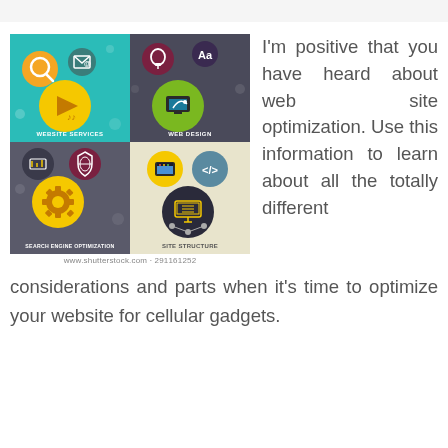[Figure (infographic): A web services infographic divided into 4 quadrants: Website Services (teal, icons: search, email, music/play), Web Design (dark gray, icons: lightbulb, typography Aa, monitor/design), Search Engine Optimization (dark gray, icons: settings panel, shield/globe, gear), Site Structure (cream/beige, icons: browser layout, code brackets, network/monitor). Shutterstock watermark overlaid. URL and image ID below.]
I'm positive that you have heard about web site optimization. Use this information to learn about all the totally different considerations and parts when it's time to optimize your website for cellular gadgets.